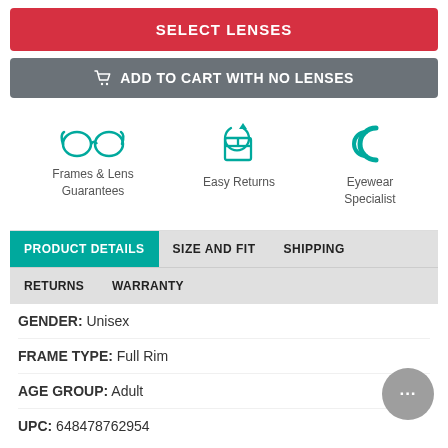SELECT LENSES
ADD TO CART WITH NO LENSES
[Figure (illustration): Three teal icons: glasses (Frames & Lens Guarantees), box with arrow (Easy Returns), eyewear logo (Eyewear Specialist)]
Frames & Lens Guarantees | Easy Returns | Eyewear Specialist
PRODUCT DETAILS | SIZE AND FIT | SHIPPING | RETURNS | WARRANTY
GENDER: Unisex
FRAME TYPE: Full Rim
AGE GROUP: Adult
UPC: 648478762954